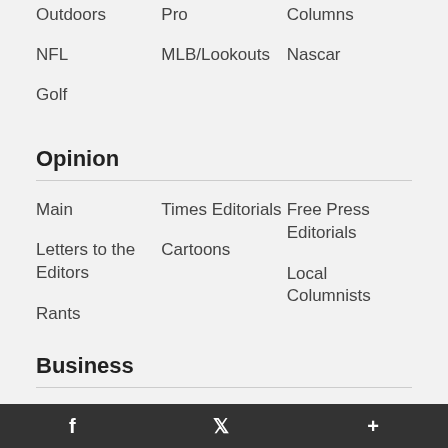Outdoors
Pro
Columns
NFL
MLB/Lookouts
Nascar
Golf
Opinion
Main
Times Editorials
Free Press Editorials
Letters to the Editors
Cartoons
Local Columnists
Rants
Business